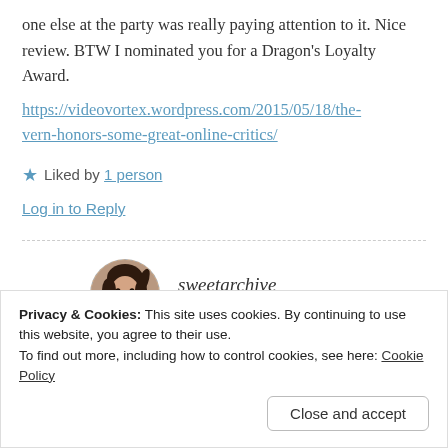one else at the party was really paying attention to it. Nice review. BTW I nominated you for a Dragon's Loyalty Award.
https://videovortex.wordpress.com/2015/05/18/the-vern-honors-some-great-online-critics/
★ Liked by 1 person
Log in to Reply
sweetarchive
MAY 19, 2015 AT 4:58 AM
Privacy & Cookies: This site uses cookies. By continuing to use this website, you agree to their use.
To find out more, including how to control cookies, see here: Cookie Policy
Close and accept
What kind of party was it that they played this